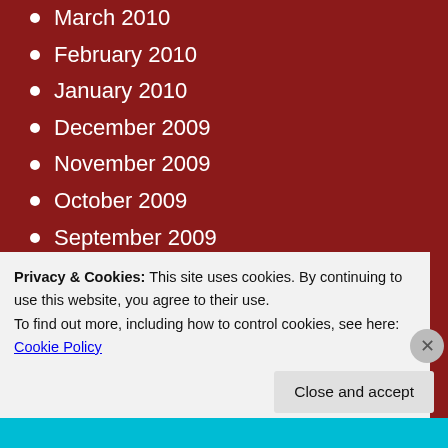March 2010
February 2010
January 2010
December 2009
November 2009
October 2009
September 2009
August 2009
July 2009
June 2009
May 2009
April 2009
March 2009
February 2009
Privacy & Cookies: This site uses cookies. By continuing to use this website, you agree to their use. To find out more, including how to control cookies, see here: Cookie Policy
Close and accept